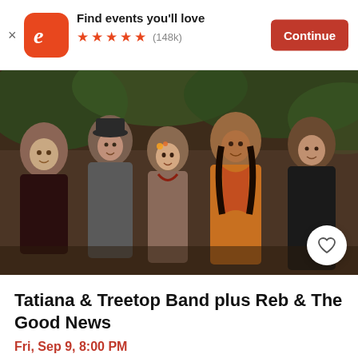[Figure (logo): Eventbrite app banner with orange logo, five orange stars, '(148k)' reviews, text 'Find events you'll love', and orange 'Continue' button]
[Figure (photo): Group photo of five band members standing together outdoors smiling, with a heart/save button overlay in bottom right corner]
Tatiana & Treetop Band plus Reb & The Good News
Fri, Sep 9, 8:00 PM
Michael's on Main • Soquel, CA
$15